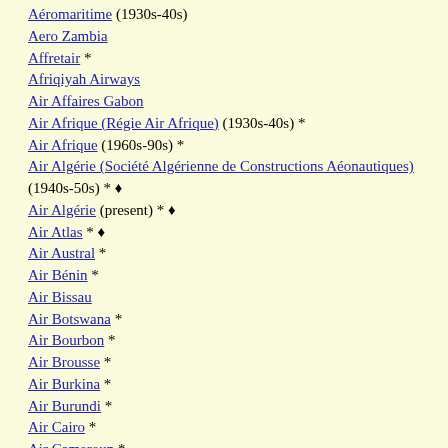Aéromaritime (1930s-40s)
Aero Zambia
Affretair *
Afriqiyah Airways
Air Affaires Gabon
Air Afrique (Régie Air Afrique) (1930s-40s) *
Air Afrique (1960s-90s) *
Air Algérie (Société Algérienne de Constructions Aéonautiques) (1940s-50s) * ♦
Air Algérie (present) * ♦
Air Atlas * ♦
Air Austral *
Air Bénin *
Air Bissau
Air Botswana *
Air Bourbon *
Air Brousse *
Air Burkina *
Air Burundi *
Air Cairo *
Air Cameroun *
Air Cape
Air Comores *
Air Congo (1960s-70s) * ♦
Air Djibouti *